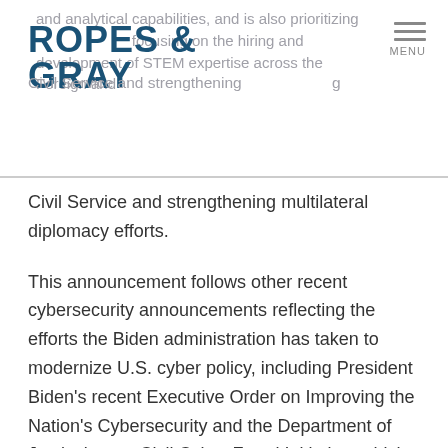Ropes & Gray — MENU
Civil Service and strengthening multilateral diplomacy efforts.
This announcement follows other recent cybersecurity announcements reflecting the efforts the Biden administration has taken to modernize U.S. cyber policy, including President Biden's recent Executive Order on Improving the Nation's Cybersecurity and the Department of Justice's new Civil Cyber-Fraud Initiative, which enforces cybersecurity standards and reporting requirements. Together, these developments signal to allies and adversaries that the U.S. is prioritizing cyber threats as a critical matter of national